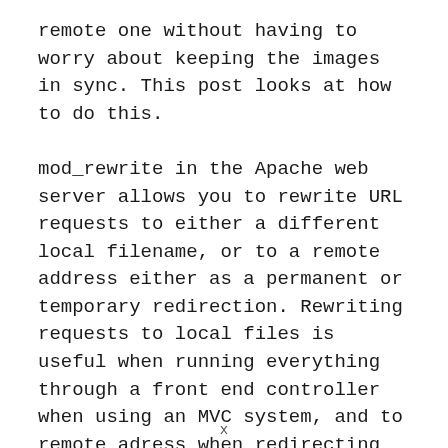remote one without having to worry about keeping the images in sync. This post looks at how to do this.
mod_rewrite in the Apache web server allows you to rewrite URL requests to either a different local filename, or to a remote address either as a permanent or temporary redirection. Rewriting requests to local files is useful when running everything through a front end controller when using an MVC system, and to remote adress when redirecting from an old domain name to a new one. Remote rewrites are also useful for the above
x